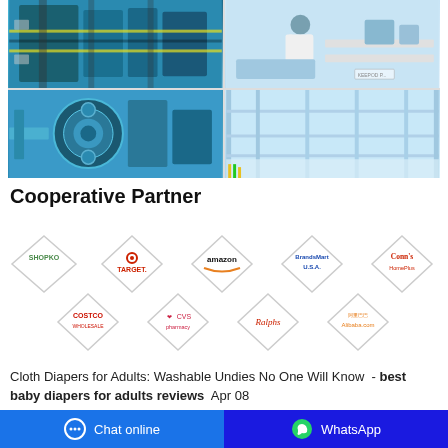[Figure (photo): 2x2 grid of factory/laboratory photos showing manufacturing equipment, a scientist in a lab, industrial machinery with blue tones, and a clean warehouse facility]
Cooperative Partner
[Figure (logo): Grid of partner brand logos in diamond shapes: Shopko, Target, Amazon, BrandsMart USA, Conn's HomePlus (top row); Costco, CVS pharmacy, Ralphs, Alibaba.com (bottom row)]
Cloth Diapers for Adults: Washable Undies No One Will Know - best baby diapers for adults reviews Apr 08
Chat online    WhatsApp